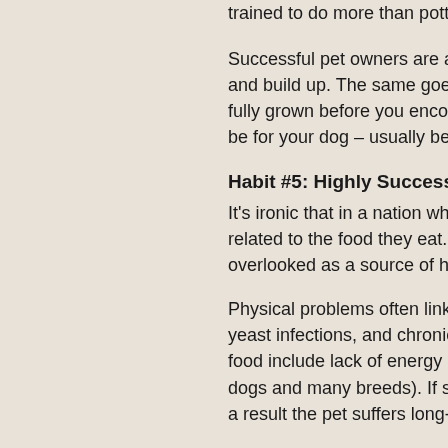trained to do more than potty in the h…
Successful pet owners are also safety… and build up. The same goes for pupp… fully grown before you encourage her… be for your dog – usually between 12…
Habit #5: Highly Successful Pet Ov…
It's ironic that in a nation where peop… related to the food they eat. Although… overlooked as a source of health and…
Physical problems often linked to foo… yeast infections, and chronic urinary c… food include lack of energy or out-of-c… dogs and many breeds). If symptoms… a result the pet suffers long-term, and…
Heart-tugging pet-food commercials d… most widely advertised pet foods con… problems in some pets. Corn and wh… foods.
Even the best food is bad for a pet wh… arthritis, and other health issues that… everything except the probable cause… burn. Guess whose fault that is?
Successful pet owners keep their pet… pet, and use that information to selec… of the best foods available in pet su…